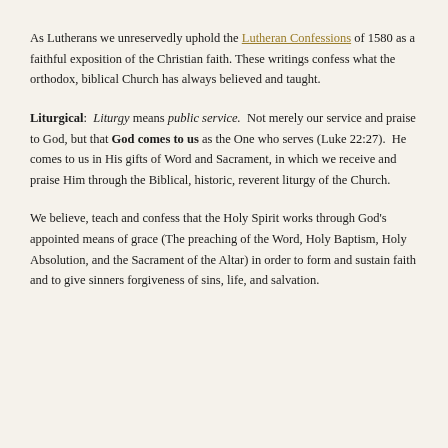As Lutherans we unreservedly uphold the Lutheran Confessions of 1580 as a faithful exposition of the Christian faith. These writings confess what the orthodox, biblical Church has always believed and taught.
Liturgical: Liturgy means public service. Not merely our service and praise to God, but that God comes to us as the One who serves (Luke 22:27). He comes to us in His gifts of Word and Sacrament, in which we receive and praise Him through the Biblical, historic, reverent liturgy of the Church.
We believe, teach and confess that the Holy Spirit works through God's appointed means of grace (The preaching of the Word, Holy Baptism, Holy Absolution, and the Sacrament of the Altar) in order to form and sustain faith and to give sinners forgiveness of sins, life, and salvation.